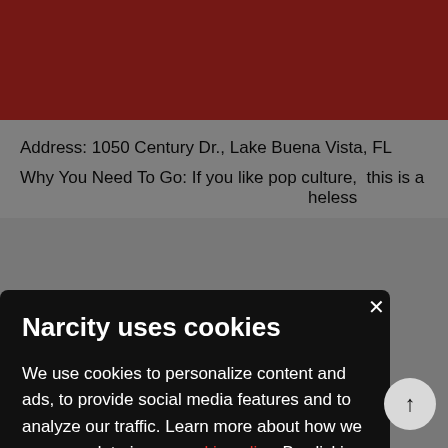[Figure (screenshot): Red header bar at the top of the Narcity website]
Address: 1050 Century Dr., Lake Buena Vista, FL
Why You Need To Go: If you like pop culture, this is a ...eless
Narcity uses cookies
We use cookies to personalize content and ads, to provide social media features and to analyze our traffic. Learn more about how we use your data in our cookie policy. By clicking Accept, you allow us to use cookies to give you the best experience on site.
Accept